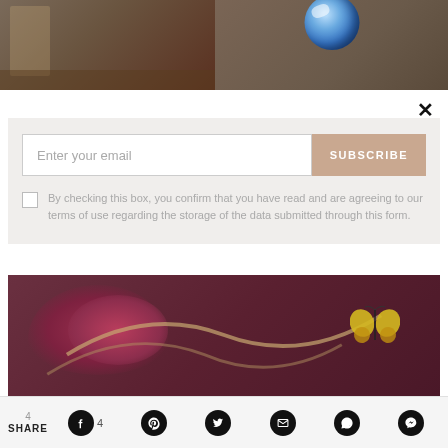[Figure (photo): Top banner photo showing museum interior with columns and globe/earth image in center]
×
Enter your email
SUBSCRIBE
By checking this box, you confirm that you have read and are agreeing to our terms of use regarding the storage of the data submitted through this form.
[Figure (photo): Close-up photo of decorative dried flowers/plants with red/purple petals and yellow butterfly]
4 SHARE  [Facebook] 4  [Pinterest]  [Twitter]  [Email]  [WhatsApp]  [Messenger]